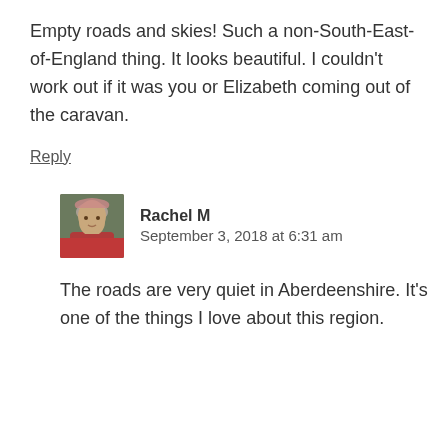Empty roads and skies! Such a non-South-East-of-England thing. It looks beautiful. I couldn't work out if it was you or Elizabeth coming out of the caravan.
Reply
Rachel M
September 3, 2018 at 6:31 am
The roads are very quiet in Aberdeenshire. It's one of the things I love about this region.